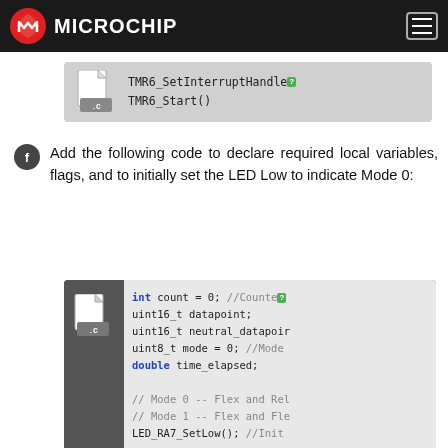Microchip
[Figure (screenshot): Code snippet showing TMR6_SetInterruptHandler and TMR6_Start() in a .C file icon block]
Add the following code to declare required local variables, flags, and to initially set the LED Low to indicate Mode 0:
[Figure (screenshot): Code snippet showing int count = 0; uint16_t datapoint; uint16_t neutral_datapoint; uint8_t mode = 0; double time_elapsed; // Mode 0 -- Flex and Relax // Mode 1 -- Flex and Flex LED_RA7_SetLow(); //Init in a .C file icon block]